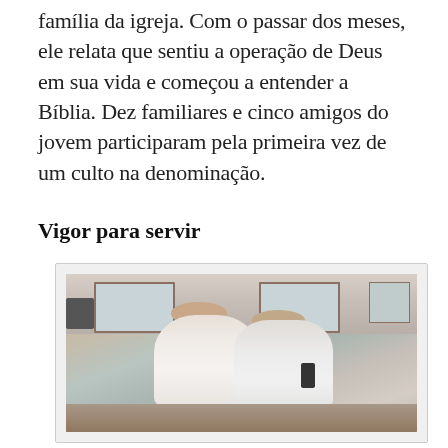família da igreja. Com o passar dos meses, ele relata que sentiu a operação de Deus em sua vida e começou a entender a Bíblia. Dez familiares e cinco amigos do jovem participaram pela primeira vez de um culto na denominação.
Vigor para servir
[Figure (photo): Two elderly people dressed in white inside what appears to be a church baptismal or meeting room. One person holds a microphone. There are windows with blinds in the background and a speaker on the left wall.]